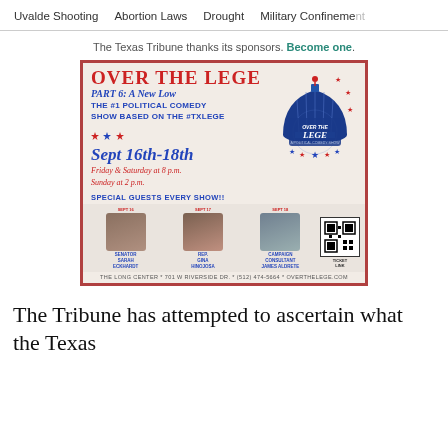Uvalde Shooting  Abortion Laws  Drought  Military Confinement
The Texas Tribune thanks its sponsors. Become one.
[Figure (infographic): Advertisement for 'Over The Lege Part 6: A New Low', described as the #1 political comedy show based on the #TXLege. Shows dates Sept 16th-18th, Friday & Saturday at 8 p.m., Sunday at 2 p.m. Special guests every show including Senator Sarah Eckhardt, Rep. Gina Hinojosa, Campaign Consultant James Aldrete. Venue: The Long Center, 701 W Riverside Dr., (512) 474-5664, overthelege.com]
The Tribune has attempted to ascertain what the Texas